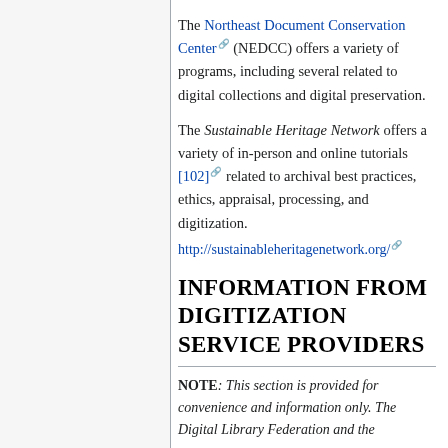The Northeast Document Conservation Center (NEDCC) offers a variety of programs, including several related to digital collections and digital preservation.
The Sustainable Heritage Network offers a variety of in-person and online tutorials [102] related to archival best practices, ethics, appraisal, processing, and digitization. http://sustainableheritagenetwork.org/
INFORMATION FROM DIGITIZATION SERVICE PROVIDERS
NOTE: This section is provided for convenience and information only. The Digital Library Federation and the